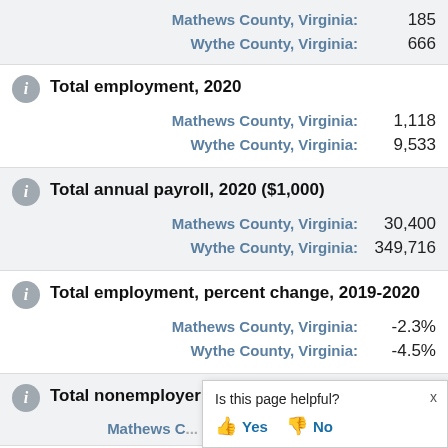Mathews County, Virginia: 185
Wythe County, Virginia: 666
Total employment, 2020
Mathews County, Virginia: 1,118
Wythe County, Virginia: 9,533
Total annual payroll, 2020 ($1,000)
Mathews County, Virginia: 30,400
Wythe County, Virginia: 349,716
Total employment, percent change, 2019-2020
Mathews County, Virginia: -2.3%
Wythe County, Virginia: -4.5%
Total nonemployer establishments
Mathews C...
Is this page helpful? Yes No